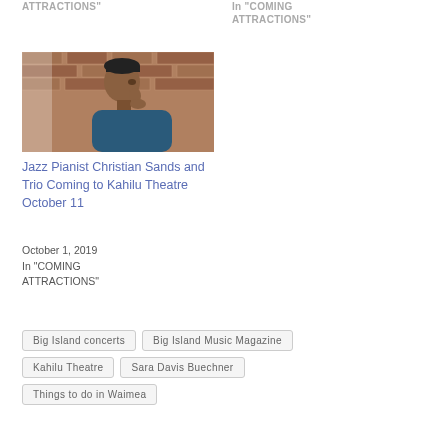ATTRACTIONS"
In "COMING ATTRACTIONS"
[Figure (photo): Young man in side profile pose, thinking, against brick wall background, wearing blue jacket]
Jazz Pianist Christian Sands and Trio Coming to Kahilu Theatre October 11
October 1, 2019
In "COMING ATTRACTIONS"
Big Island concerts
Big Island Music Magazine
Kahilu Theatre
Sara Davis Buechner
Things to do in Waimea